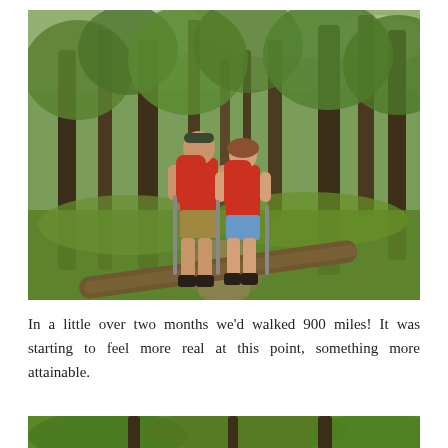[Figure (photo): Two hikers with red backpacks and trekking poles standing on a forest trail surrounded by lush green vegetation and trees. A fallen log lies across the foreground.]
In a little over two months we'd walked 900 miles! It was starting to feel more real at this point, something more attainable.
[Figure (photo): Partial view of a forest trail with green trees and foliage, cropped at the bottom of the page.]